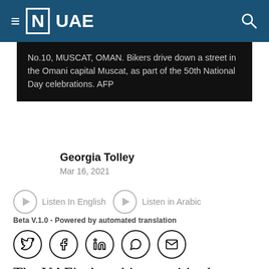≡ [N] UAE
No.10, MUSCAT, OMAN. Bikers drive down a street in the Omani capital Muscat, as part of the 50th National Day celebrations. AFP
Georgia Tolley
Mar 16, 2021
Listen In English    Listen in Arabic
Beta V.1.0 - Powered by automated translation
The UAE's three biggest cities have topped a